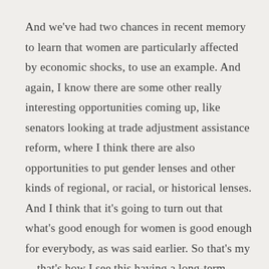And we've had two chances in recent memory to learn that women are particularly affected by economic shocks, to use an example. And again, I know there are some other really interesting opportunities coming up, like senators looking at trade adjustment assistance reform, where I think there are also opportunities to put gender lenses and other kinds of regional, or racial, or historical lenses. And I think that it's going to turn out that what's good enough for women is good enough for everybody, as was said earlier. So that's my—that's how I see this having a long-term positive impact for American workers.